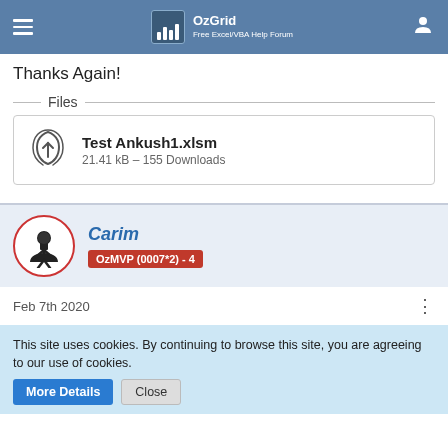OzGrid – Free Excel/VBA Help Forum
Thanks Again!
Files
Test Ankush1.xlsm
21.41 kB – 155 Downloads
Carim
OzMVP (0007*2) - 4
Feb 7th 2020
This site uses cookies. By continuing to browse this site, you are agreeing to our use of cookies.